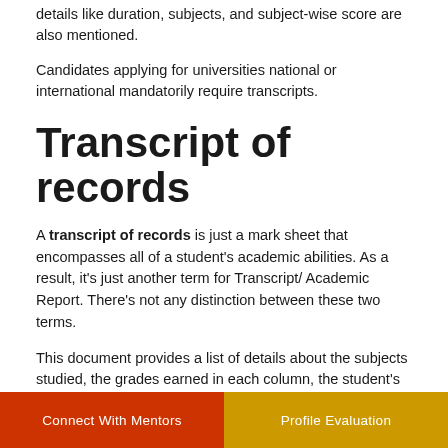details like duration, subjects, and subject-wise score are also mentioned.
Candidates applying for universities national or international mandatorily require transcripts.
Transcript of records
A transcript of records is just a mark sheet that encompasses all of a student's academic abilities. As a result, it's just another term for Transcript/Academic Report. There's not any distinction between these two terms.
This document provides a list of details about the subjects studied, the grades earned in each column, the student's awards and achievements, and other information related to their academic journey.
Connect With Mentors   Profile Evaluation